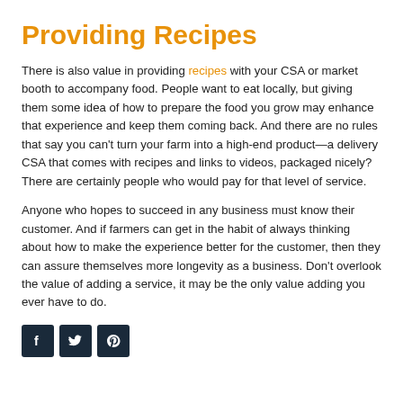Providing Recipes
There is also value in providing recipes with your CSA or market booth to accompany food. People want to eat locally, but giving them some idea of how to prepare the food you grow may enhance that experience and keep them coming back. And there are no rules that say you can't turn your farm into a high-end product—a delivery CSA that comes with recipes and links to videos, packaged nicely? There are certainly people who would pay for that level of service.
Anyone who hopes to succeed in any business must know their customer. And if farmers can get in the habit of always thinking about how to make the experience better for the customer, then they can assure themselves more longevity as a business. Don't overlook the value of adding a service, it may be the only value adding you ever have to do.
[Figure (other): Social media icons: Facebook, Twitter, Pinterest on dark navy background]